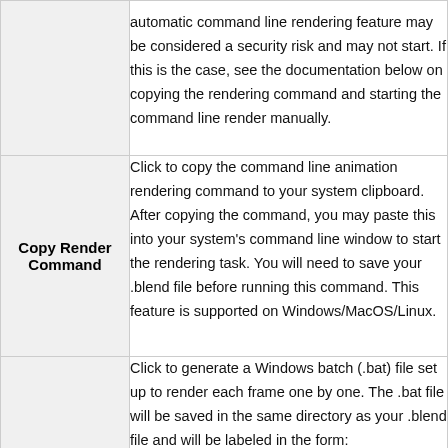| Feature | Description |
| --- | --- |
|  | automatic command line rendering feature may be considered a security risk and may not start. If this is the case, see the documentation below on copying the rendering command and starting the command line render manually. |
| Copy Render Command | Click to copy the command line animation rendering command to your system clipboard. After copying the command, you may paste this into your system's command line window to start the rendering task. You will need to save your .blend file before running this command. This feature is supported on Windows/MacOS/Linux. |
|  | Click to generate a Windows batch (.bat) file set up to render each frame one by one. The .bat file will be saved in the same directory as your .blend file and will be labeled in the form: RENDER_[blend_filename].bat. Notes: This operator will detect already rendered |